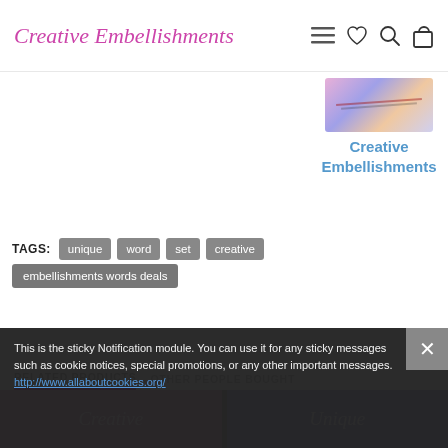Creative Embellishments
[Figure (logo): Creative Embellishments brand logo image with colorful splatter design]
Creative Embellishments
TAGS: unique  word  set  creative  embellishments words deals
RELATED PRODUCTS  OTHER PEOPLE BOUGHT
This is the sticky Notification module. You can use it for any sticky messages such as cookie notices, special promotions, or any other important messages.
http://www.allaboutcookies.org/